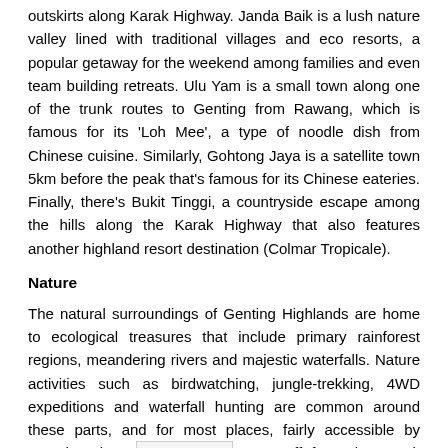outskirts along Karak Highway. Janda Baik is a lush nature valley lined with traditional villages and eco resorts, a popular getaway for the weekend among families and even team building retreats. Ulu Yam is a small town along one of the trunk routes to Genting from Rawang, which is famous for its 'Loh Mee', a type of noodle dish from Chinese cuisine. Similarly, Gohtong Jaya is a satellite town 5km before the peak that's famous for its Chinese eateries. Finally, there's Bukit Tinggi, a countryside escape among the hills along the Karak Highway that also features another highland resort destination (Colmar Tropicale).
Nature
The natural surroundings of Genting Highlands are home to ecological treasures that include primary rainforest regions, meandering rivers and majestic waterfalls. Nature activities such as birdwatching, jungle-trekking, 4WD expeditions and waterfall hunting are common around these parts, and for most places, fairly accessible by paved and gra… taper off from the Karak Highway and major trunk routes leading around Genting Highlands, Bukit Tinggi, Ulu Yam and Bentong districts. For some of these nature destinations a…